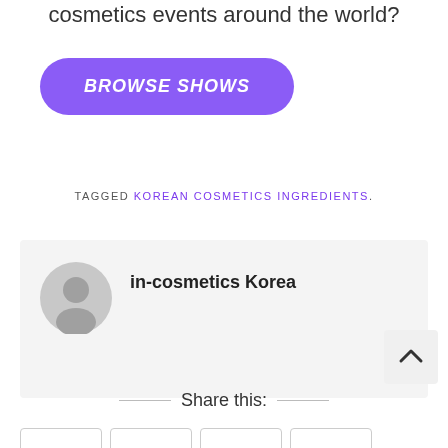cosmetics events around the world?
[Figure (other): Purple rounded button with white italic bold text 'BROWSE SHOWS']
TAGGED KOREAN COSMETICS INGREDIENTS.
[Figure (other): Author card with grey avatar placeholder icon and name 'in-cosmetics Korea']
Share this: